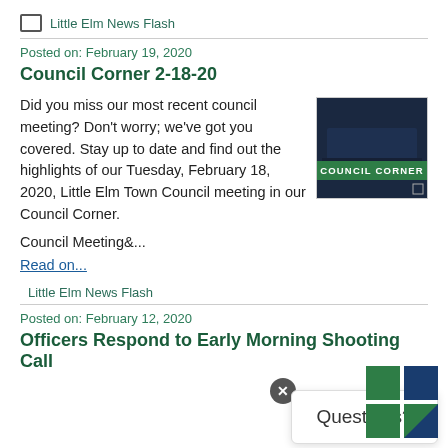Little Elm News Flash
Posted on: February 19, 2020
Council Corner 2-18-20
Did you miss our most recent council meeting? Don't worry; we've got you covered. Stay up to date and find out the highlights of our Tuesday, February 18, 2020, Little Elm Town Council meeting in our Council Corner.
[Figure (photo): Council Corner image with dark background and green 'COUNCIL CORNER' label]
Council Meeting&...
Read on...
Little Elm News Flash
Posted on: February 12, 2020
Officers Respond to Early Morning Shooting Call
[Figure (logo): Little Elm logo with green and blue squares]
Questions?